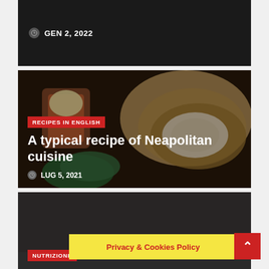GEN 2, 2022
[Figure (photo): Food photo showing stuffed bread / Neapolitan cuisine items on dark background]
RECIPES IN ENGLISH
A typical recipe of Neapolitan cuisine
LUG 5, 2021
[Figure (photo): Dark background card for Focaccia article]
NUTRIZIONE
Focaccia genovese, una ricetta velo
Privacy & Cookies Policy